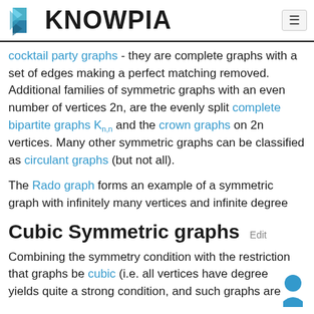KNOWPIA
cocktail party graphs - they are complete graphs with a set of edges making a perfect matching removed. Additional families of symmetric graphs with an even number of vertices 2n, are the evenly split complete bipartite graphs Kn,n and the crown graphs on 2n vertices. Many other symmetric graphs can be classified as circulant graphs (but not all).
The Rado graph forms an example of a symmetric graph with infinitely many vertices and infinite degree
Cubic Symmetric graphs Edit
Combining the symmetry condition with the restriction that graphs be cubic (i.e. all vertices have degree yields quite a strong condition, and such graphs are